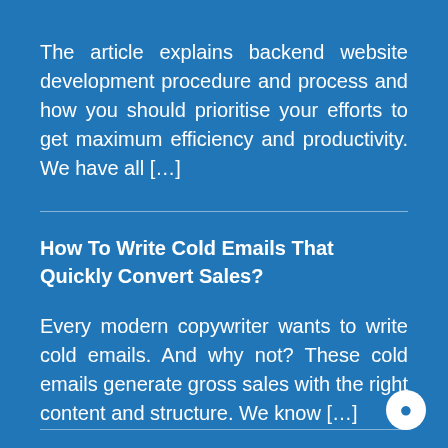The article explains backend website development procedure and process and how you should prioritise your efforts to get maximum efficiency and productivity. We have all […]
How To Write Cold Emails That Quickly Convert Sales?
Every modern copywriter wants to write cold emails. And why not? These cold emails generate gross sales with the right content and structure. We know […]